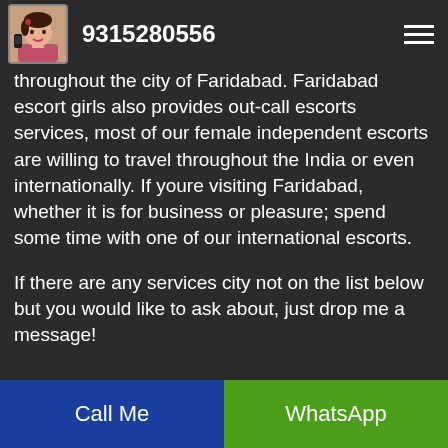9315280556
throughout the city of Faridabad. Faridabad escort girls also provides out-call escorts services, most of our female independent escorts are willing to travel throughout the India or even internationally. If youre visiting Faridabad, whether it is for business or pleasure; spend some time with one of our international escorts.
If there are any services city not on the list below but you would like to ask about, just drop me a message!
Call Me | WhatsApp